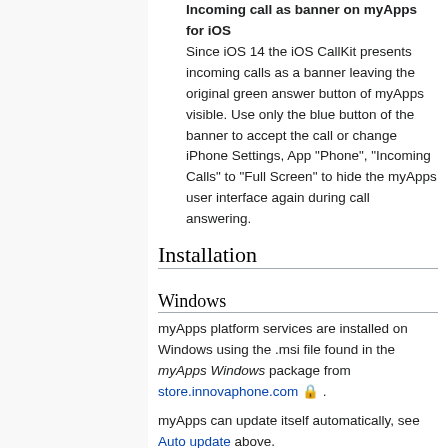Incoming call as banner on myApps for iOS Since iOS 14 the iOS CallKit presents incoming calls as a banner leaving the original green answer button of myApps visible. Use only the blue button of the banner to accept the call or change iPhone Settings, App "Phone", "Incoming Calls" to "Full Screen" to hide the myApps user interface again during call answering.
Installation
Windows
myApps platform services are installed on Windows using the .msi file found in the myApps Windows package from store.innovaphone.com 🔒 .
myApps can update itself automatically, see Auto update above.
MSI Parameters and install options